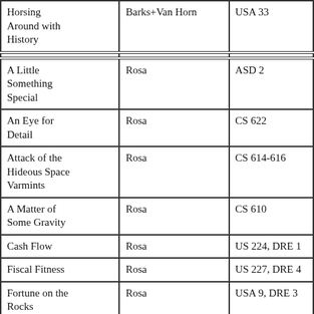| Horsing Around with History | Barks+Van Horn | USA 33 |
| A Little Something Special | Rosa | ASD 2 |
| An Eye for Detail | Rosa | CS 622 |
| Attack of the Hideous Space Varmints | Rosa | CS 614-616 |
| A Matter of Some Gravity | Rosa | CS 610 |
| Cash Flow | Rosa | US 224, DRE 1 |
| Fiscal Fitness | Rosa | US 227, DRE 4 |
| Fortune on the Rocks | Rosa | USA 9, DRE 3 |
| Hearts of the Yukon | Rosa | WDG 1 |
| His Majesty | Rosa | USA 14, |